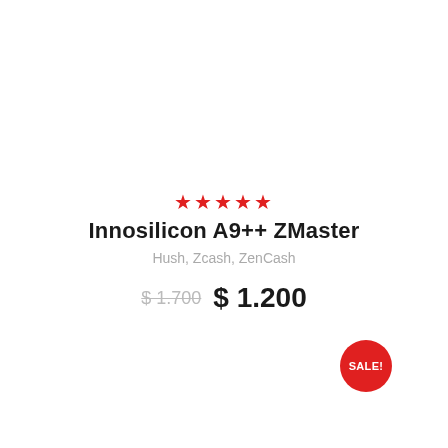Innosilicon A9++ ZMaster
Hush, Zcash, ZenCash
$ 1.700  $ 1.200
SALE!